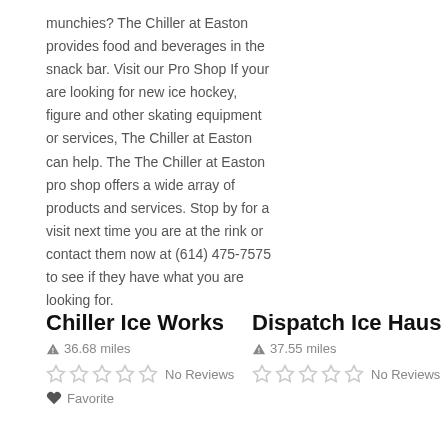munchies? The Chiller at Easton provides food and beverages in the snack bar. Visit our Pro Shop If your are looking for new ice hockey, figure and other skating equipment or services, The Chiller at Easton can help. The The Chiller at Easton pro shop offers a wide array of products and services. Stop by for a visit next time you are at the rink or contact them now at (614) 475-7575 to see if they have what you are looking for.
Chiller Ice Works
36.68 miles
No Reviews
Favorite
Dispatch Ice Haus
37.55 miles
No Reviews